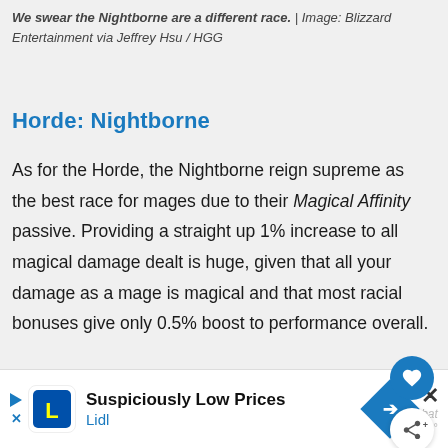We swear the Nightborne are a different race. | Image: Blizzard Entertainment via Jeffrey Hsu / HGG
Horde: Nightborne
As for the Horde, the Nightborne reign supreme as the best race for mages due to their Magical Affinity passive. Providing a straight up 1% increase to all magical damage dealt is huge, given that all your damage as a mage is magical and that most racial bonuses give only 0.5% boost to performance overall.
Further augmenting this is their other racial
[Figure (other): Lidl advertisement banner: Suspiciously Low Prices, Lidl]